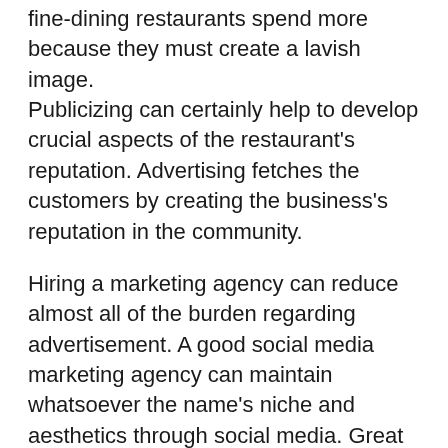fine-dining restaurants spend more because they must create a lavish image. Publicizing can certainly help to develop crucial aspects of the restaurant's reputation. Advertising fetches the customers by creating the business's reputation in the community.
Hiring a marketing agency can reduce almost all of the burden regarding advertisement. A good social media marketing agency can maintain whatsoever the name's niche and aesthetics through social media. Great brand recognition can lead to more followers, leading to more traffic to the site and a boost in orders.
The Restaurant Marketing Agency Australia understands all the specific needs of restaurants. We have profound knowledge and experience in traditional and digital marketing, public relations, reputations development,